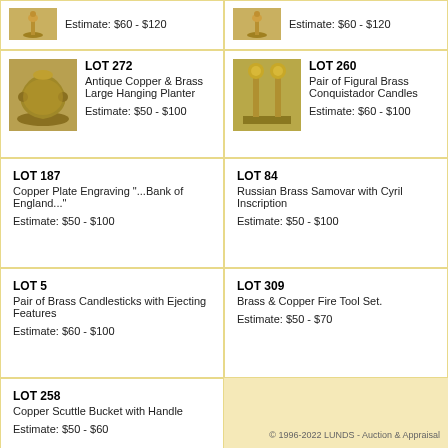[Figure (photo): Antique brass/gold lamp or candlestick item, top-left]
Estimate: $60 - $120
[Figure (photo): Antique brass/gold lamp or candlestick item, top-right]
Estimate: $60 - $120
[Figure (photo): Antique Copper & Brass Large Hanging Planter]
LOT 272
Antique Copper & Brass Large Hanging Planter
Estimate: $50 - $100
[Figure (photo): Pair of Figural Brass Conquistador Candles]
LOT 260
Pair of Figural Brass Conquistador Candles
Estimate: $60 - $100
LOT 187
Copper Plate Engraving "...Bank of England..."
Estimate: $50 - $100
LOT 84
Russian Brass Samovar with Cyrillic Inscription
Estimate: $50 - $100
LOT 5
Pair of Brass Candlesticks with Ejecting Features
Estimate: $60 - $100
LOT 309
Brass & Copper Fire Tool Set.
Estimate: $50 - $70
LOT 258
Copper Scuttle Bucket with Handle
Estimate: $50 - $60
© 1996-2022 LUNDS - Auction & Appraisal